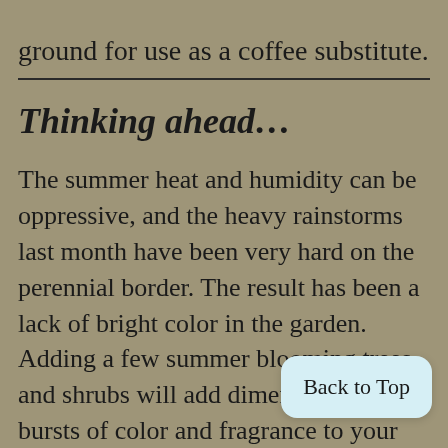ground for use as a coffee substitute.
Thinking ahead…
The summer heat and humidity can be oppressive, and the heavy rainstorms last month have been very hard on the perennial border. The result has been a lack of bright color in the garden. Adding a few summer blooming trees and shrubs will add dimension and bursts of color and fragrance to your garden border. These plants the heat and humidity, and still